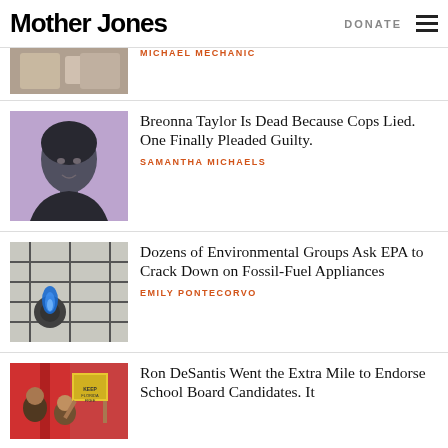Mother Jones | DONATE
MICHAEL MECHANIC
Breonna Taylor Is Dead Because Cops Lied. One Finally Pleaded Guilty.
SAMANTHA MICHAELS
Dozens of Environmental Groups Ask EPA to Crack Down on Fossil-Fuel Appliances
EMILY PONTECORVO
Ron DeSantis Went the Extra Mile to Endorse School Board Candidates. It